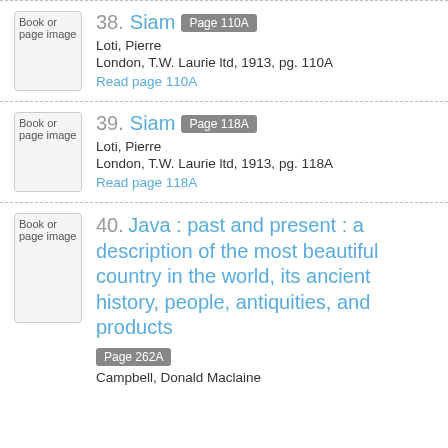38. Siam Page 110A
Loti, Pierre
London, T.W. Laurie ltd, 1913, pg. 110A
Read page 110A
39. Siam Page 118A
Loti, Pierre
London, T.W. Laurie ltd, 1913, pg. 118A
Read page 118A
40. Java : past and present : a description of the most beautiful country in the world, its ancient history, people, antiquities, and products
Page 262A
Campbell, Donald Maclaine